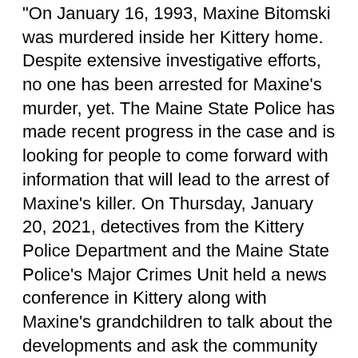On January 16, 1993, Maxine Bitomski was murdered inside her Kittery home. Despite extensive investigative efforts, no one has been arrested for Maxine's murder, yet. The Maine State Police has made recent progress in the case and is looking for people to come forward with information that will lead to the arrest of Maxine's killer. On Thursday, January 20, 2021, detectives from the Kittery Police Department and the Maine State Police's Major Crimes Unit held a news conference in Kittery along with Maxine's grandchildren to talk about the developments and ask the community can help.
Recently Seacoast Crime Stoppers announced a $10,000 reward for anyone who provides information that leads to an indictment and/or arrest of a suspect in the Maxine Bitomski unsolved homicide.
Since 1983 Seacoast Crime Stoppers has been funded solely by the generosity of the Seacoast community. Because of that support they have received thousands of tips that have helped law enforcement agencies solve